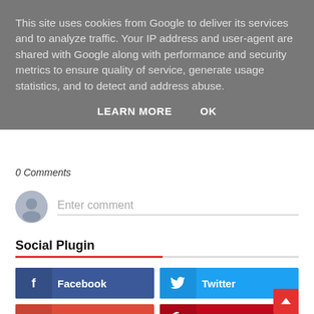This site uses cookies from Google to deliver its services and to analyze traffic. Your IP address and user-agent are shared with Google along with performance and security metrics to ensure quality of service, generate usage statistics, and to detect and address abuse.
LEARN MORE    OK
0 Comments
Enter comment
Social Plugin
Facebook
Twitter
Google Plus
Pinterest
Instagram